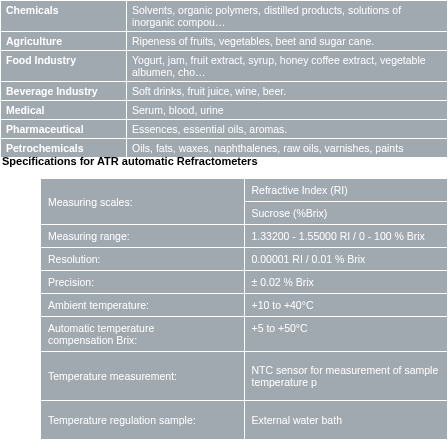| Industry | Applications |
| --- | --- |
| Chemicals | Solvents, organic polymers, distilled products, solutions of inorganic compounds |
| Agriculture | Ripeness of fruits, vegetables, beet and sugar cane. |
| Food Industry | Yogurt, jam, fruit extract, syrup, honey coffee extract, vegetable albumen, chocolate |
| Beverage Industry | Soft drinks, fruit juice, wine, beer. |
| Medical | Serum, blood, urine |
| Pharmaceutical | Essences, essential oils, aromas. |
| Petrochemicals | Oils, fats, waxes, naphthalenes, raw oils, varnishes, paints |
Specifications for ATR automatic Refractometers
| Parameter | Value |
| --- | --- |
| Measuring scales: | Refractive Index (RI) / Sucrose (%Brix) |
| Measuring range: | 1.33200 - 1.55000 RI  / 0 - 100 % Brix |
| Resolution: | 0.00001 RI /  0.01 % Brix |
| Precision: | ± 0.02 % Brix |
| Ambient temperature: | +10 to +40°C |
| Automatic temperature compensation Brix: | +5 to +50°C |
| Temperature measurement: | NTC sensor for measurement of sample temperature p |
| Temperature regulation sample: | External water bath |